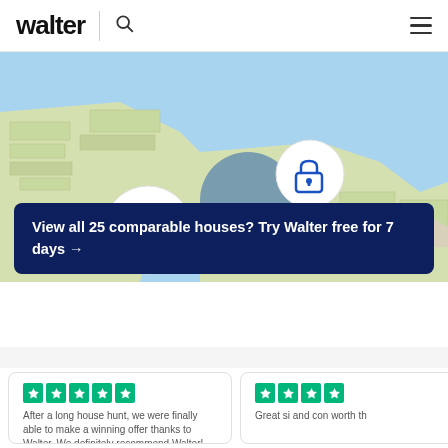walter
[Figure (map): Interactive map showing a waterfront area with two white circular lock icons indicating locked/premium property listings. The map has a blue water area and light green/beige land areas with building footprints.]
View all 25 comparable houses? Try Walter free for 7 days →
After a long house hunt, we were finally able to make a winning offer thanks to Walter. We definitely recommend Walter!
Great si and con worth th